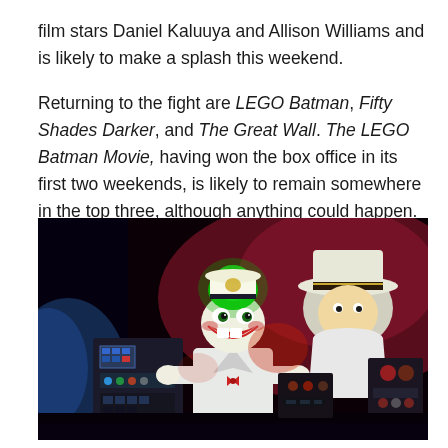film stars Daniel Kaluuya and Allison Williams and is likely to make a splash this weekend.
Returning to the fight are LEGO Batman, Fifty Shades Darker, and The Great Wall. The LEGO Batman Movie, having won the box office in its first two weekends, is likely to remain somewhere in the top three, although anything could happen.
[Figure (photo): Still from The LEGO Batman Movie showing LEGO Joker character in a white suit with green glowing hair, surrounded by other LEGO characters in a cockpit-like setting with red and blue lighting effects.]